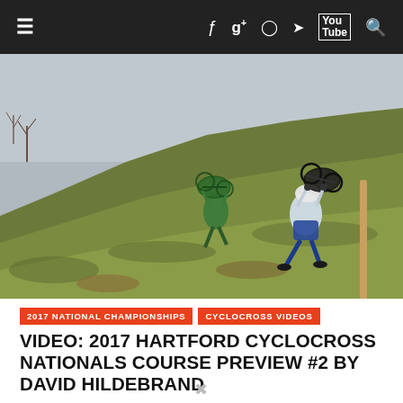≡  f  g+  ◉  🐦  You Tube  🔍
[Figure (photo): Two cyclocross racers carrying their bikes up a steep grassy hill during a race or course preview. Overcast sky, bare trees in the background.]
2017 NATIONAL CHAMPIONSHIPS   CYCLOCROSS VIDEOS
VIDEO: 2017 HARTFORD CYCLOCROSS NATIONALS COURSE PREVIEW #2 BY DAVID HILDEBRAND
David Hildebrand returned to the Riverside Park for an updated course preview video. He saw the nearly-finished course, did some hot laps, spoke with USA Cycling and some prominent